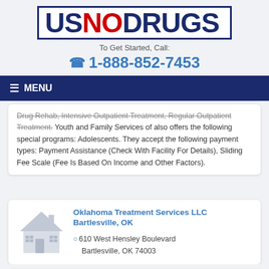[Figure (logo): US NO DRUGS logo — 'US' and 'DRUGS' in dark navy, 'NO' in red, all caps bold, inside a navy-bordered white box]
To Get Started, Call:
☎ 1-888-852-7453
☰ MENU
Drug Rehab, Intensive Outpatient Treatment, Regular Outpatient Treatment. Youth and Family Services of also offers the following special programs: Adolescents. They accept the following payment types: Payment Assistance (Check With Facility For Details), Sliding Fee Scale (Fee Is Based On Income and Other Factors).
Oklahoma Treatment Services LLC Bartlesville, OK
610 West Hensley Boulevard
Bartlesville, OK 74003